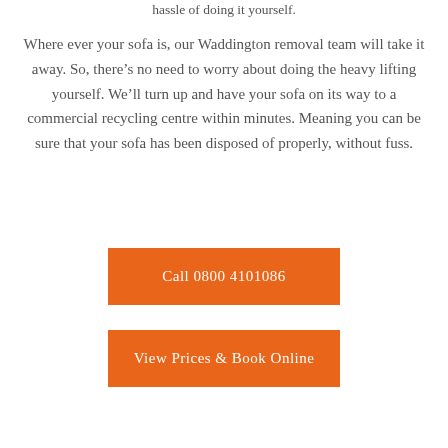hassle of doing it yourself.
Where ever your sofa is, our Waddington removal team will take it away. So, there’s no need to worry about doing the heavy lifting yourself. We’ll turn up and have your sofa on its way to a commercial recycling centre within minutes. Meaning you can be sure that your sofa has been disposed of properly, without fuss.
Call 0800 4101086
View Prices & Book Online